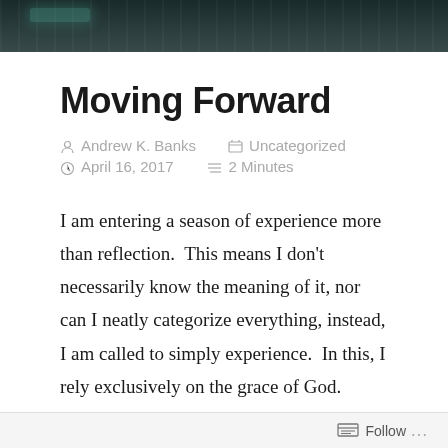[Figure (photo): Dark header banner image with dark teal/grey tones, appearing to show bookshelves or vertical lines in background]
Moving Forward
Andrew K. Banks   Uncategorized
April 16, 2017   2 Minutes
I am entering a season of experience more than reflection.  This means I don't necessarily know the meaning of it, nor can I neatly categorize everything, instead, I am called to simply experience.  In this, I rely exclusively on the grace of God.  There is no flesh, no lofty thoughts fronting a facade of having everything
Follow